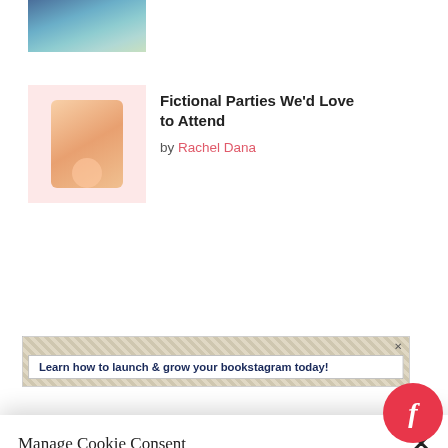[Figure (photo): Cropped photo of a person at the top of the page]
Fictional Parties We'd Love to Attend
by Rachel Dana
[Figure (illustration): Pink background thumbnail with a figure holding a balloon]
[Figure (other): Advertisement banner: Learn how to launch & grow your bookstagram today!]
Manage Cookie Consent
We use cookies to optimize our website and our service.
Accept
Cookie Policy   Privacy statement
[Figure (logo): Fable app logo: red circle with italic white f]